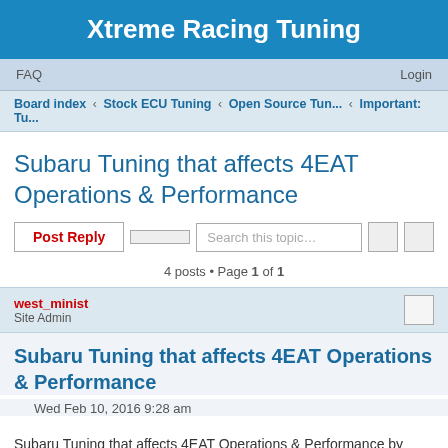Xtreme Racing Tuning
FAQ   Login
Board index › Stock ECU Tuning › Open Source Tun... › Important: Tu...
Subaru Tuning that affects 4EAT Operations & Performance
4 posts • Page 1 of 1
west_minist
Site Admin
Subaru Tuning that affects 4EAT Operations & Performance
Wed Feb 10, 2016 9:28 am
Subaru Tuning that affects 4EAT Operations & Performance by Xtreme Racing Tuning (XRT)
Many H4 customers have been complaining over the years on the Lag/delay and the performance of the 4EAT to the point of selling their cars or just no attempt to drive in a way that would cause an accident like